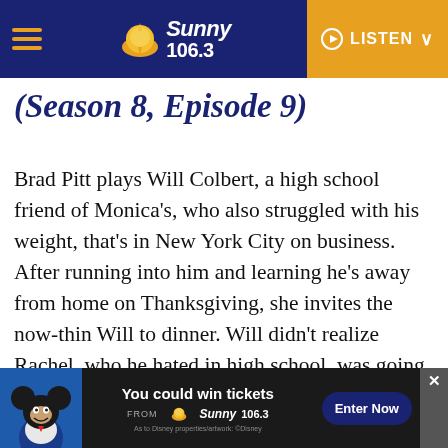Sunny 106.3 — LISTEN
(Season 8, Episode 9)
Brad Pitt plays Will Colbert, a high school friend of Monica's, who also struggled with his weight, that's in New York City on business. After running into him and learning he's away from home on Thanksgiving, she invites the now-thin Will to dinner. Will didn't realize Rachel, who he hated in high school, was going to be there. Obviously, wackiness ensues including the reveal that Will started a rumor in high school that Rachel was intersex. This episode is easily one of the most publicized
[Figure (screenshot): Advertisement banner featuring Mickey Mouse. Text: 'You could win tickets FROM Sunny 106.3 — Enter Now'. Disney copyright notice at bottom right.]